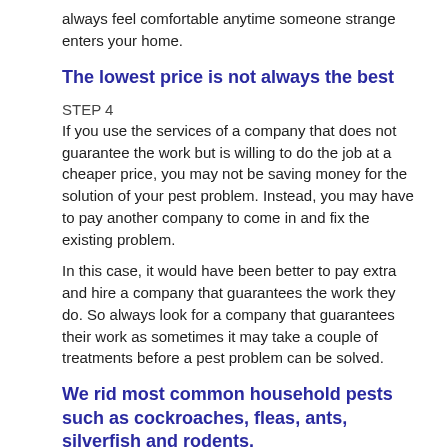always feel comfortable anytime someone strange enters your home.
The lowest price is not always the best
STEP 4
If you use the services of a company that does not guarantee the work but is willing to do the job at a cheaper price, you may not be saving money for the solution of your pest problem. Instead, you may have to pay another company to come in and fix the existing problem.
In this case, it would have been better to pay extra and hire a company that guarantees the work they do. So always look for a company that guarantees their work as sometimes it may take a couple of treatments before a pest problem can be solved.
We rid most common household pests such as cockroaches, fleas, ants, silverfish and rodents.
STEP 5
When hiring a company, ask if the service is one solution to the problem you are having or does it